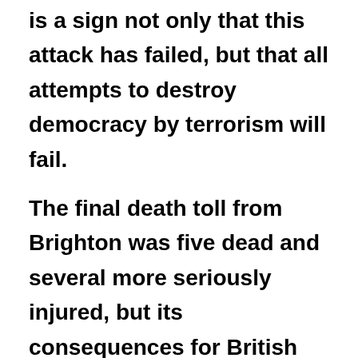is a sign not only that this attack has failed, but that all attempts to destroy democracy by terrorism will fail. The final death toll from Brighton was five dead and several more seriously injured, but its consequences for British politics, which could have been momentous, turned out to be minimal. If the IRA could not shake her, could anything else?